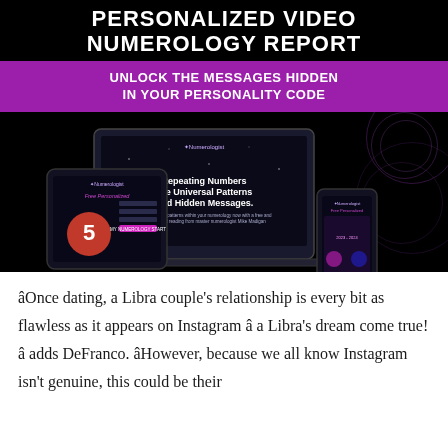[Figure (illustration): Promotional banner for a Personalized Video Numerology Report showing a laptop, tablet, and mobile phone against a dark background with purple circle orb decorations. A purple banner reads 'UNLOCK THE MESSAGES HIDDEN IN YOUR PERSONALITY CODE'. The laptop screen shows text about 'Repeating Numbers Are Universal Patterns And Hidden Messages.' The tablet shows a number 5 on a dark cosmic background.]
âOnce dating, a Libra couple's relationship is every bit as flawless as it appears on Instagram â a Libra's dream come true!â adds DeFranco. âHowever, because we all know Instagram isn't genuine, this could be their downfall.â